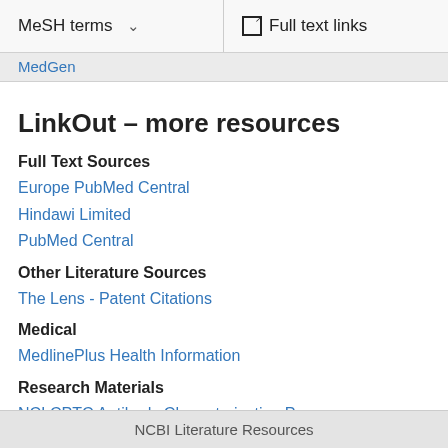MeSH terms   ∨     Full text links
MedGen
LinkOut – more resources
Full Text Sources
Europe PubMed Central
Hindawi Limited
PubMed Central
Other Literature Sources
The Lens - Patent Citations
Medical
MedlinePlus Health Information
Research Materials
NCI CPTC Antibody Characterization Program
NCBI Literature Resources